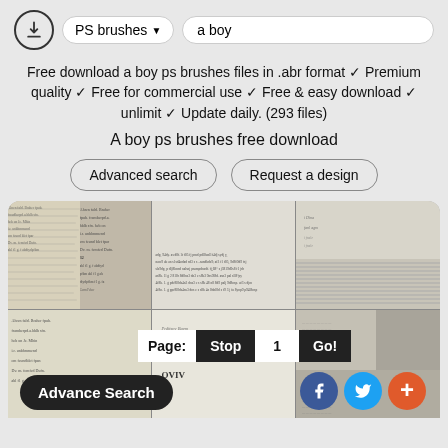PS brushes ▾   a boy
Free download a boy ps brushes files in .abr format ✓ Premium quality ✓ Free for commercial use ✓ Free & easy download ✓ unlimit ✓ Update daily. (293 files)
A boy ps brushes free download
Advanced search   Request a design
[Figure (screenshot): Grid of manuscript/handwriting brush preview images showing old handwritten text documents in grayscale]
Page:  Stop  1  Go!
Advance Search